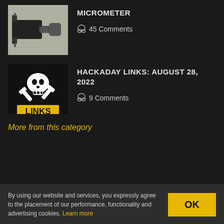[Figure (photo): Thumbnail photo of a micrometer tool on paper]
MICROMETER
45 Comments
[Figure (illustration): Hackaday Links logo: skull and crosswrenches with yellow LINKS text on black background]
HACKADAY LINKS: AUGUST 28, 2022
9 Comments
More from this category
By using our website and services, you expressly agree to the placement of our performance, functionality and advertising cookies. Learn more